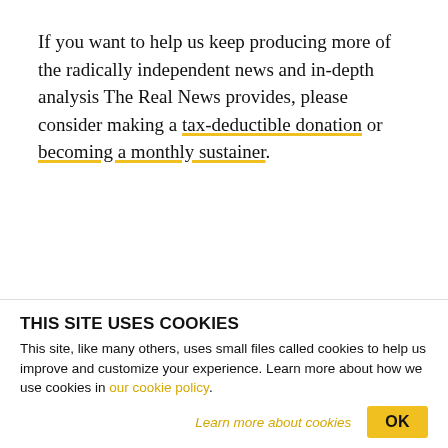If you want to help us keep producing more of the radically independent news and in-depth analysis The Real News provides, please consider making a tax-deductible donation or becoming a monthly sustainer.
[Figure (other): Donation widget with a text input showing '$10/mo' and a blue 'Donate' button, plus three grey tab elements partially visible below]
THIS SITE USES COOKIES
This site, like many others, uses small files called cookies to help us improve and customize your experience. Learn more about how we use cookies in our cookie policy.
Learn more about cookies  OK